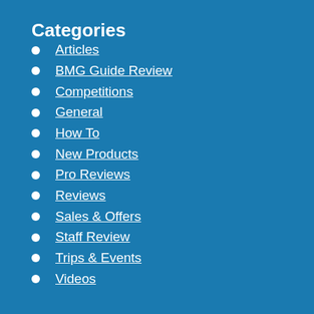Categories
Articles
BMG Guide Review
Competitions
General
How To
New Products
Pro Reviews
Reviews
Sales & Offers
Staff Review
Trips & Events
Videos